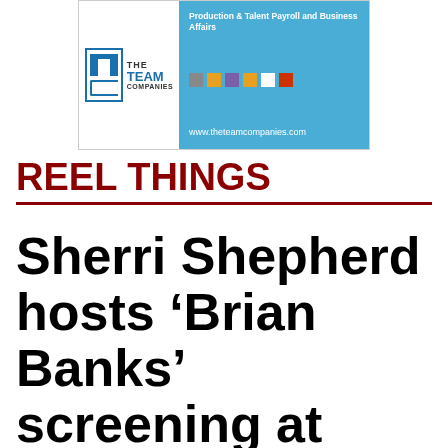[Figure (logo): The Team Companies advertisement banner with logo on left (TTC logo with blue T and C shapes, text reading THE TEAM COMPANIES) and blue background on right with text 'Production & Talent Payroll and Business Affairs', colored squares, and website www.theteamcompanies.com]
REEL THINGS
Sherri Shepherd hosts ‘Brian Banks’ screening at AMC